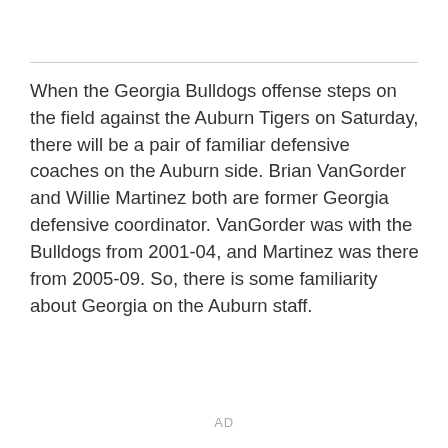When the Georgia Bulldogs offense steps on the field against the Auburn Tigers on Saturday, there will be a pair of familiar defensive coaches on the Auburn side. Brian VanGorder and Willie Martinez both are former Georgia defensive coordinator. VanGorder was with the Bulldogs from 2001-04, and Martinez was there from 2005-09. So, there is some familiarity about Georgia on the Auburn staff.
AD